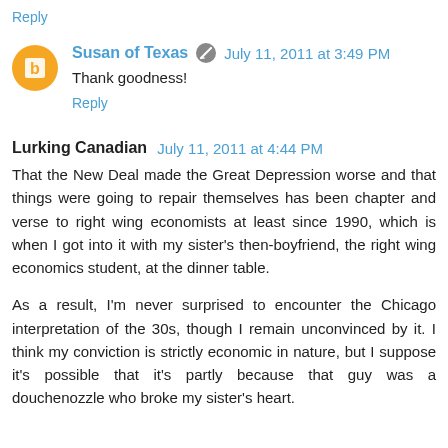Reply
Susan of Texas   July 11, 2011 at 3:49 PM
Thank goodness!
Reply
Lurking Canadian  July 11, 2011 at 4:44 PM
That the New Deal made the Great Depression worse and that things were going to repair themselves has been chapter and verse to right wing economists at least since 1990, which is when I got into it with my sister's then-boyfriend, the right wing economics student, at the dinner table.
As a result, I'm never surprised to encounter the Chicago interpretation of the 30s, though I remain unconvinced by it. I think my conviction is strictly economic in nature, but I suppose it's possible that it's partly because that guy was a douchenozzle who broke my sister's heart.